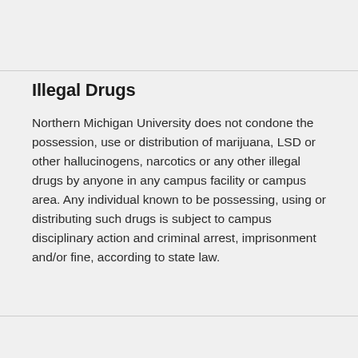Illegal Drugs
Northern Michigan University does not condone the possession, use or distribution of marijuana, LSD or other hallucinogens, narcotics or any other illegal drugs by anyone in any campus facility or campus area. Any individual known to be possessing, using or distributing such drugs is subject to campus disciplinary action and criminal arrest, imprisonment and/or fine, according to state law.